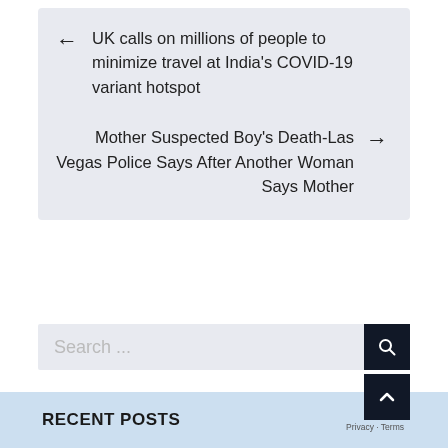← UK calls on millions of people to minimize travel at India's COVID-19 variant hotspot
Mother Suspected Boy's Death-Las Vegas Police Says After Another Woman Says Mother →
Search ...
RECENT POSTS